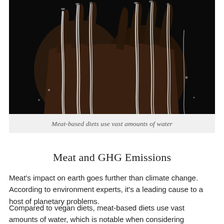[Figure (photo): Close-up photograph of dark hands with water streaming down through fingers, set against a black background. The streams of water are bright silver-white contrasting with the dark skin and background.]
Meat-based diets use vast amounts of water
Meat and GHG Emissions
Meat's impact on earth goes further than climate change. According to environment experts, it's a leading cause to a host of planetary problems.
Compared to vegan diets, meat-based diets use vast amounts of water, which is notable when considering